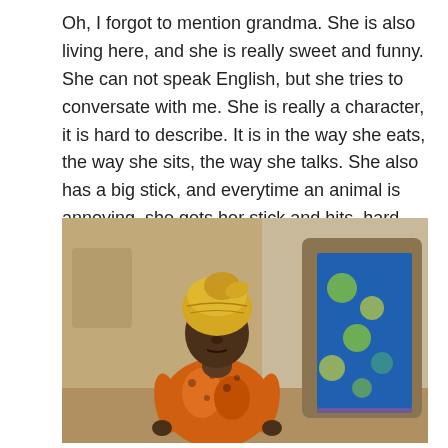Oh, I forgot to mention grandma. She is also living here, and she is really sweet and funny. She can not speak English, but she tries to conversate with me. She is really a character, it is hard to describe. It is in the way she eats, the way she sits, the way she talks. She also has a big stick, and everytime an animal is annoying, she gets her stick and hits, hard. This is grandma in her sunday church suit. Grandma is katholic, but the rest of the family is muslim. Not a problem at al!:)
[Figure (photo): An elderly African woman wearing a colorful orange patterned dress and a yellow/gold head wrap, standing outdoors in front of a mud/clay wall with a blue and green patterned fabric curtain hanging in a doorway behind her.]